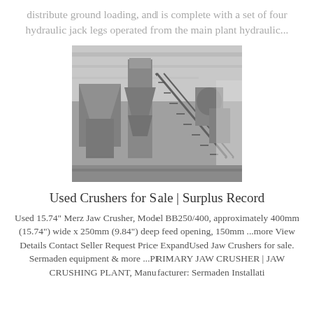distribute ground loading, and is complete with a set of four hydraulic jack legs operated from the main plant hydraulic...
[Figure (photo): Industrial crushing plant machinery with metal staircases, hoppers, and processing equipment inside a large facility.]
Used Crushers for Sale | Surplus Record
Used 15.74" Merz Jaw Crusher, Model BB250/400, approximately 400mm (15.74") wide x 250mm (9.84") deep feed opening, 150mm ...more View Details Contact Seller Request Price ExpandUsed Jaw Crushers for sale. Sermaden equipment & more ...PRIMARY JAW CRUSHER | JAW CRUSHING PLANT, Manufacturer: Sermaden Installati